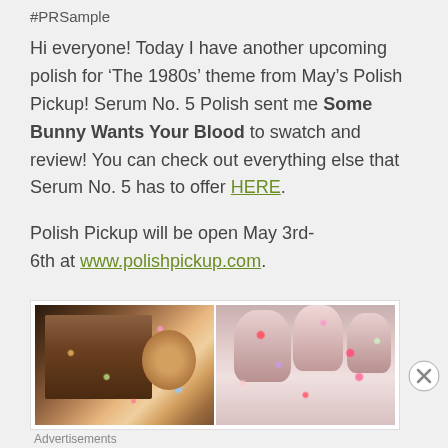#PRSample
Hi everyone! Today I have another upcoming polish for ‘The 1980s’ theme from May’s Polish Pickup! Serum No. 5 Polish sent me Some Bunny Wants Your Blood to swatch and review! You can check out everything else that Serum No. 5 has to offer HERE.
Polish Pickup will be open May 3rd-6th at www.polishpickup.com.
[Figure (photo): Two side-by-side photos: left shows a glittery nail polish bottle labeled SERUM, right shows close-up of nails with colorful glitter polish applied]
Advertisements